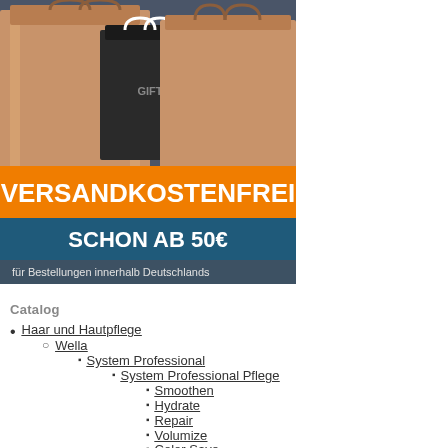[Figure (photo): Shopping bags photo with orange banner 'VERSANDKOSTENFREI' and teal banner 'SCHON AB 50€', subtitle 'für Bestellungen innerhalb Deutschlands']
Catalog
Haar und Hautpflege
Wella
System Professional
System Professional Pflege
Smoothen
Hydrate
Repair
Volumize
Color Save